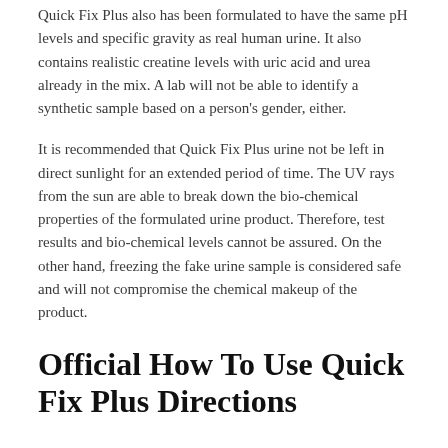Quick Fix Plus also has been formulated to have the same pH levels and specific gravity as real human urine. It also contains realistic creatine levels with uric acid and urea already in the mix. A lab will not be able to identify a synthetic sample based on a person's gender, either.
It is recommended that Quick Fix Plus urine not be left in direct sunlight for an extended period of time. The UV rays from the sun are able to break down the bio-chemical properties of the formulated urine product. Therefore, test results and bio-chemical levels cannot be assured. On the other hand, freezing the fake urine sample is considered safe and will not compromise the chemical makeup of the product.
Official How To Use Quick Fix Plus Directions